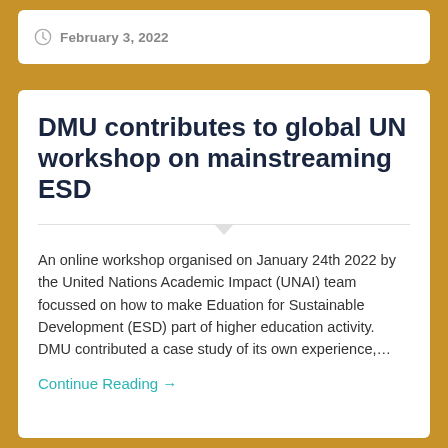February 3, 2022
DMU contributes to global UN workshop on mainstreaming ESD
An online workshop organised on January 24th 2022 by the United Nations Academic Impact (UNAI) team focussed on how to make Eduation for Sustainable Development (ESD) part of higher education activity. DMU contributed a case study of its own experience,…
Continue Reading →